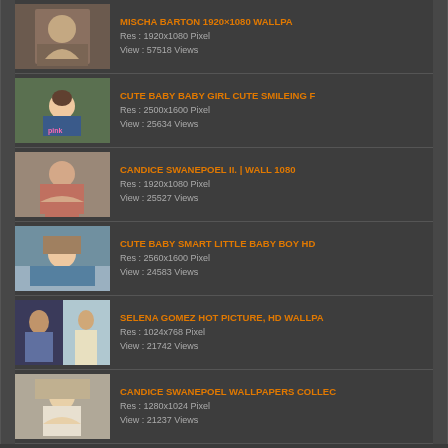MISCHA BARTON 1920×1080 WALLPA | Res : 1920x1080 Pixel | View : 57518 Views
CUTE BABY BABY GIRL CUTE SMILEING F | Res : 2500x1600 Pixel | View : 25634 Views
CANDICE SWANEPOEL II. | WALL 1080 | Res : 1920x1080 Pixel | View : 25527 Views
CUTE BABY SMART LITTLE BABY BOY HD | Res : 2560x1600 Pixel | View : 24583 Views
SELENA GOMEZ HOT PICTURE, HD WALLPA | Res : 1024x768 Pixel | View : 21742 Views
CANDICE SWANEPOEL WALLPAPERS COLLEC | Res : 1280x1024 Pixel | View : 21237 Views